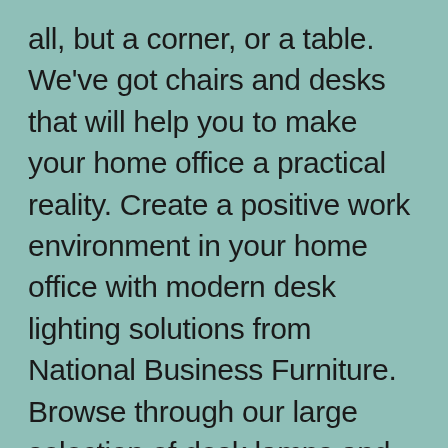all, but a corner, or a table. We've got chairs and desks that will help you to make your home office a practical reality. Create a positive work environment in your home office with modern desk lighting solutions from National Business Furniture. Browse through our large selection of desk lamps and other lighting options to complete your work from home office. With adjustable lighting, we can help you create a calm yet productive work environment with desk lights. Browse our selection of unique & modern home office desks. Improve your productivity with a high-